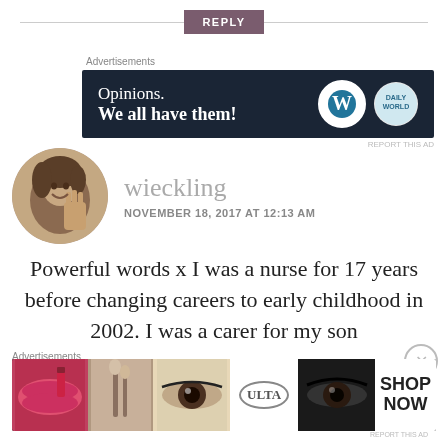[Figure (screenshot): REPLY button with horizontal rule on either side]
Advertisements
[Figure (screenshot): WordPress advertisement banner: Opinions. We all have them! with WordPress and Daily World logos]
REPORT THIS AD
[Figure (photo): Circular avatar photo of a woman with her hand raised]
wieckling
NOVEMBER 18, 2017 AT 12:13 AM
Powerful words x I was a nurse for 17 years before changing careers to early childhood in 2002. I was a carer for my son
Advertisements
[Figure (screenshot): Ulta beauty advertisement banner with makeup imagery and SHOP NOW button]